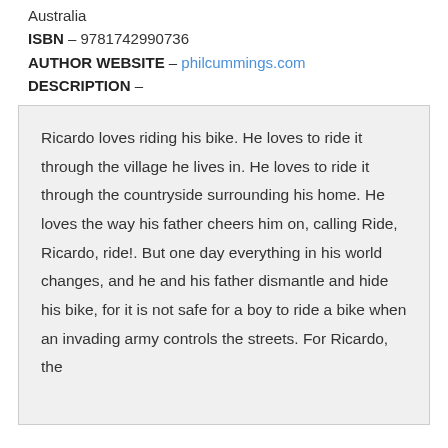Australia
ISBN – 9781742990736
AUTHOR WEBSITE – philcummings.com
DESCRIPTION –
Ricardo loves riding his bike. He loves to ride it through the village he lives in. He loves to ride it through the countryside surrounding his home. He loves the way his father cheers him on, calling Ride, Ricardo, ride!. But one day everything in his world changes, and he and his father dismantle and hide his bike, for it is not safe for a boy to ride a bike when an invading army controls the streets. For Ricardo, the